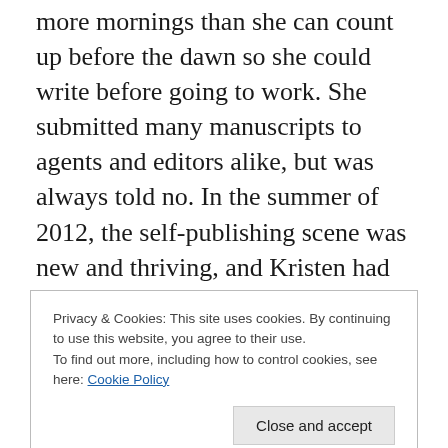more mornings than she can count up before the dawn so she could write before going to work. She submitted many manuscripts to agents and editors alike, but was always told no. In the summer of 2012, the self-publishing scene was new and thriving, and Kristen had one goal: to publish just one book. It was something she longed to cross off of her bucket list.
Not only did she publish one book, she's since published close to thirty titles, many of which have hit the USA Today, New York Times and Wall Street Journal
Privacy & Cookies: This site uses cookies. By continuing to use this website, you agree to their use.
To find out more, including how to control cookies, see here: Cookie Policy
Kristen and her husband, John, make their home in her